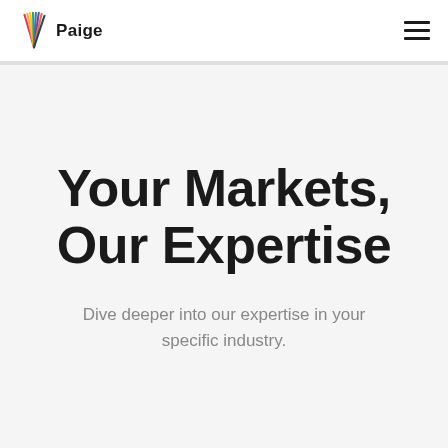Paige
Your Markets, Our Expertise
Dive deeper into our expertise in your specific industry.